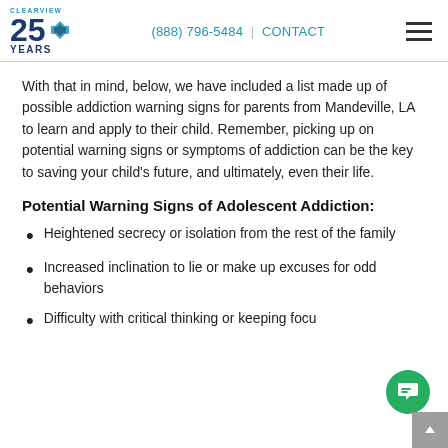CLEARVIEW 25 YEARS | (888) 796-5484 | CONTACT
With that in mind, below, we have included a list made up of possible addiction warning signs for parents from Mandeville, LA to learn and apply to their child. Remember, picking up on potential warning signs or symptoms of addiction can be the key to saving your child's future, and ultimately, even their life.
Potential Warning Signs of Adolescent Addiction:
Heightened secrecy or isolation from the rest of the family
Increased inclination to lie or make up excuses for odd behaviors
Difficulty with critical thinking or keeping focus